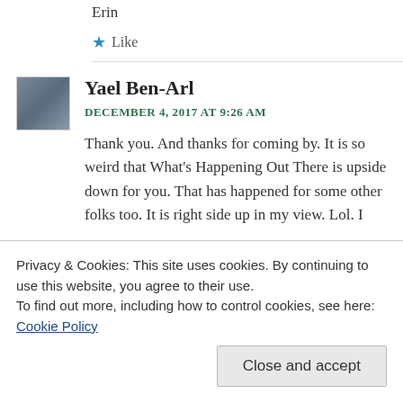Erin
Like
Yael Ben-Arl
DECEMBER 4, 2017 AT 9:26 AM
Thank you. And thanks for coming by. It is so weird that What's Happening Out There is upside down for you. That has happened for some other folks too. It is right side up in my view. Lol. I
Privacy & Cookies: This site uses cookies. By continuing to use this website, you agree to their use.
To find out more, including how to control cookies, see here: Cookie Policy
Close and accept